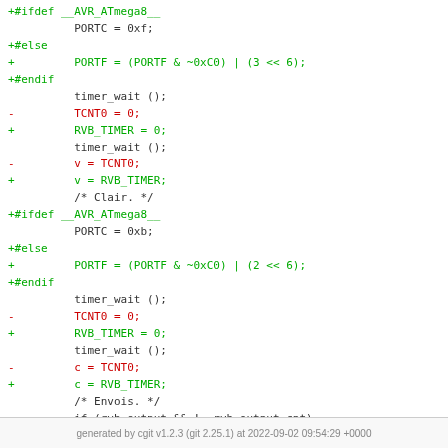[Figure (other): Code diff snippet showing changes from TCNT0 to RVB_TIMER and AVR ATmega8 preprocessor conditionals for PORTC/PORTF settings]
generated by cgit v1.2.3 (git 2.25.1) at 2022-09-02 09:54:29 +0000